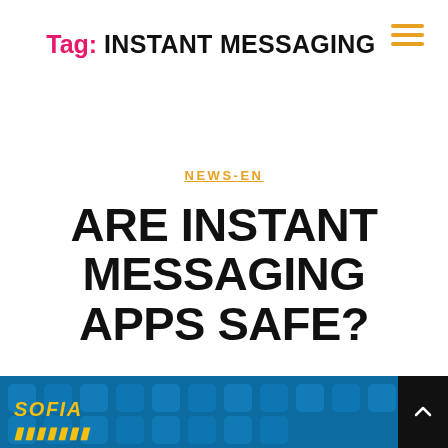Tag: INSTANT MESSAGING
NEWS-EN
ARE INSTANT MESSAGING APPS SAFE?
By Sofia  23/02/2022
[Figure (photo): Blue tiled background with app icons and 'SOFIA' text overlay in yellow italic bold font]